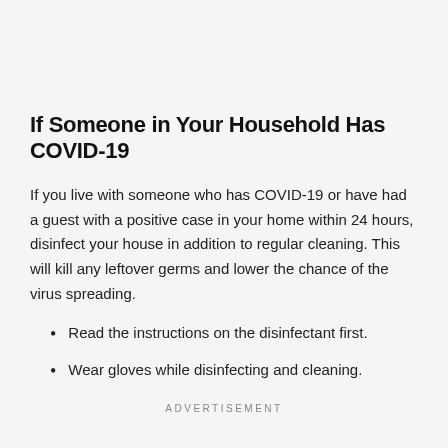If Someone in Your Household Has COVID-19
If you live with someone who has COVID-19 or have had a guest with a positive case in your home within 24 hours, disinfect your house in addition to regular cleaning. This will kill any leftover germs and lower the chance of the virus spreading.
Read the instructions on the disinfectant first.
Wear gloves while disinfecting and cleaning.
ADVERTISEMENT